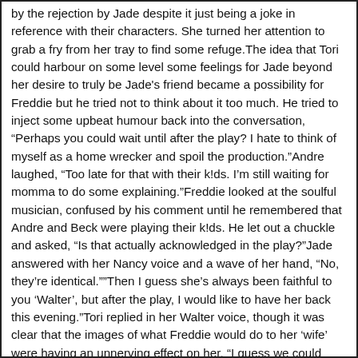by the rejection by Jade despite it just being a joke in reference with their characters. She turned her attention to grab a fry from her tray to find some refuge.The idea that Tori could harbour on some level some feelings for Jade beyond her desire to truly be Jade's friend became a possibility for Freddie but he tried not to think about it too much. He tried to inject some upbeat humour back into the conversation, “Perhaps you could wait until after the play? I hate to think of myself as a home wrecker and spoil the production.”Andre laughed, “Too late for that with their k!ds. I’m still waiting for momma to do some explaining.”Freddie looked at the soulful musician, confused by his comment until he remembered that Andre and Beck were playing their k!ds. He let out a chuckle and asked, “Is that actually acknowledged in the play?”Jade answered with her Nancy voice and a wave of her hand, “No, they’re identical.””Then I guess she’s always been faithful to you ‘Walter’, but after the play, I would like to have her back this evening.”Tori replied in her Walter voice, though it was clear that the images of what Freddie would do to her ‘wife’ were having an unnerving effect on her, “I guess we could work out some... arrangement.””What? You want to share her?”Jade